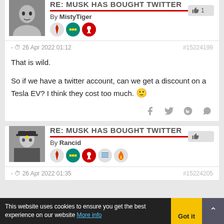RE: MUSK HAS BOUGHT TWITTER
By MistyTiger
- 26 Apr 2022 01:12  #15224199
That is wild.

So if we have a twitter account, can we get a discount on a Tesla EV? I think they cost too much. 🙂
RE: MUSK HAS BOUGHT TWITTER
By Rancid
- 26 Apr 2022 01:35  #15224205
This website uses cookies to ensure you get the best experience on our website More info